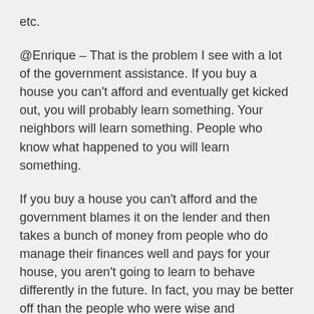etc.
@Enrique – That is the problem I see with a lot of the government assistance. If you buy a house you can't afford and eventually get kicked out, you will probably learn something. Your neighbors will learn something. People who know what happened to you will learn something.
If you buy a house you can't afford and the government blames it on the lender and then takes a bunch of money from people who do manage their finances well and pays for your house, you aren't going to learn to behave differently in the future. In fact, you may be better off than the people who were wise and